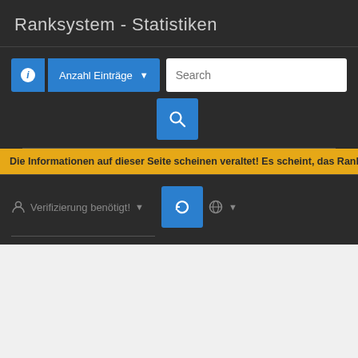Ranksystem - Statistiken
[Figure (screenshot): Web UI controls: info button, 'Anzahl Einträge' dropdown button, search input field, search submit button]
Die Informationen auf dieser Seite scheinen veraltet! Es scheint, das Ranksystem ist i
[Figure (screenshot): Lower controls: user icon with 'Verifizierung benötigt!' dropdown, refresh button, globe/language dropdown]
61    kronus    BT2Hed4qKtnLOrugHzGVrA94i5A=